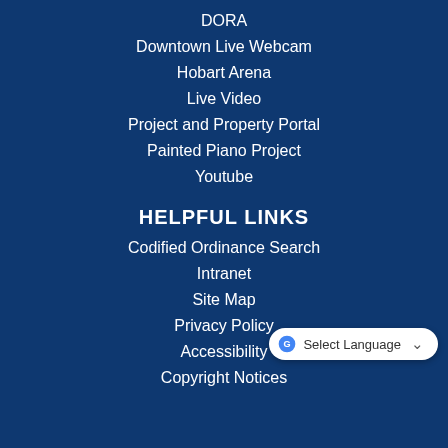DORA
Downtown Live Webcam
Hobart Arena
Live Video
Project and Property Portal
Painted Piano Project
Youtube
HELPFUL LINKS
Codified Ordinance Search
Intranet
Site Map
Privacy Policy
Accessibility
Copyright Notices